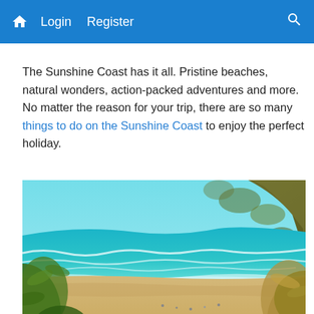Home  Login  Register  Search
The Sunshine Coast has it all. Pristine beaches, natural wonders, action-packed adventures and more. No matter the reason for your trip, there are so many things to do on the Sunshine Coast to enjoy the perfect holiday.
[Figure (photo): Aerial/ground-level view of a coastal beach scene with turquoise water, white waves, sandy beach with people, and a hillside covered with vegetation under a bright blue sky. Foreground has blurred foliage.]